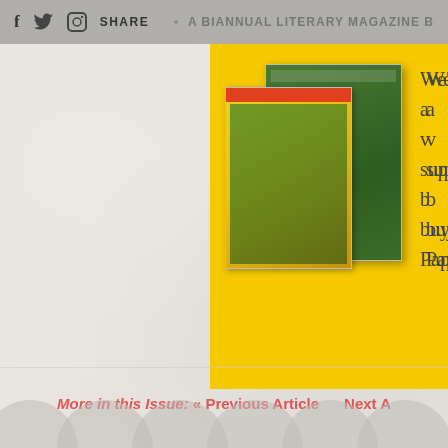f  [twitter]  [instagram]  SHARE  •  A BIANNUAL LITERARY MAGAZINE B
[Figure (photo): Yellow-bordered promotional box showing two magazine covers with outdoor/nature imagery]
We're a v support. b buying Pap
More in this Issue:  « Previous Article     Next A
[Figure (illustration): Row of light grey decorative circles along the bottom of the page]